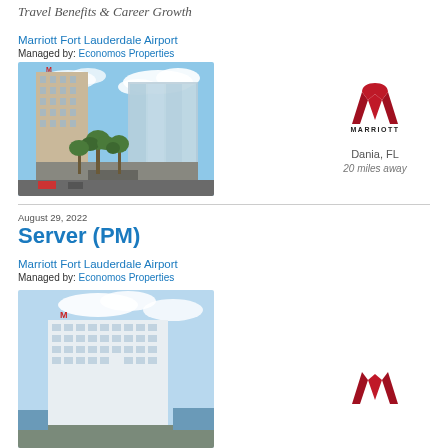Travel Benefits & Career Growth
Marriott Fort Lauderdale Airport
Managed by: Economos Properties
[Figure (photo): Hotel building exterior with palm trees and modern glass architecture]
[Figure (logo): Marriott logo with text MARRIOTT]
Dania, FL
20 miles away
August 29, 2022
Server (PM)
Marriott Fort Lauderdale Airport
Managed by: Economos Properties
[Figure (photo): Hotel building aerial or exterior view with blue sky]
[Figure (logo): Marriott logo (partial)]